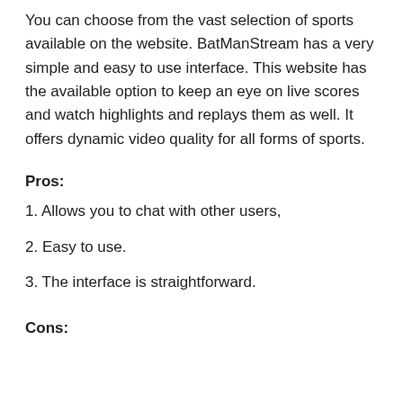You can choose from the vast selection of sports available on the website. BatManStream has a very simple and easy to use interface. This website has the available option to keep an eye on live scores and watch highlights and replays them as well. It offers dynamic video quality for all forms of sports.
Pros:
1. Allows you to chat with other users,
2. Easy to use.
3. The interface is straightforward.
Cons: